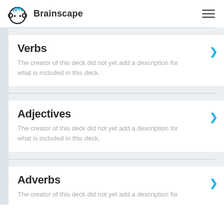Brainscape
Verbs
The creator of this deck did not yet add a description for what is included in this deck.
Adjectives
The creator of this deck did not yet add a description for what is included in this deck.
Adverbs
The creator of this deck did not yet add a description for